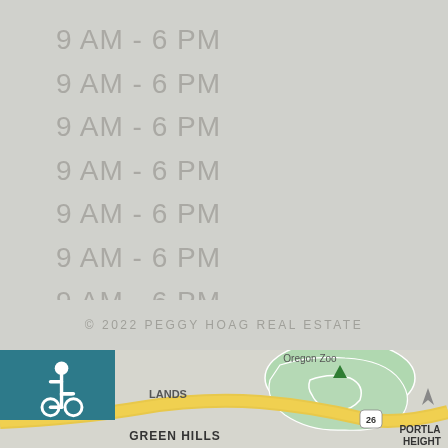9 AM - 6 PM
9 AM - 6 PM
9 AM - 6 PM
9 AM - 6 PM
9 AM - 6 PM
9 AM - 6 PM
9 AM - 6 PM
© 2022 PEGGY HOAG REAL ESTATE
[Figure (map): Google Maps view showing Green Hills area of Portland, Oregon with Oregon Zoo, Highway 26, Green Hills, Portland Heights labels and road network with yellow highway and green park area.]